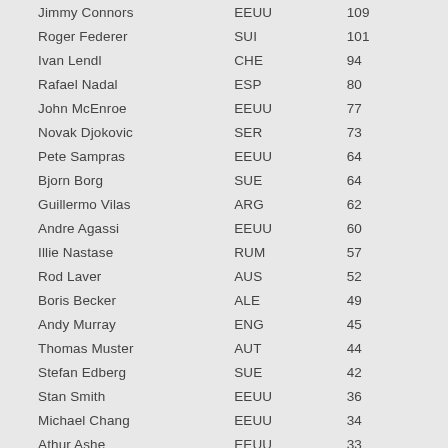| Name | Country | Wins |
| --- | --- | --- |
| Jimmy Connors | EEUU | 109 |
| Roger Federer | SUI | 101 |
| Ivan Lendl | CHE | 94 |
| Rafael Nadal | ESP | 80 |
| John McEnroe | EEUU | 77 |
| Novak Djokovic | SER | 73 |
| Pete Sampras | EEUU | 64 |
| Bjorn Borg | SUE | 64 |
| Guillermo Vilas | ARG | 62 |
| Andre Agassi | EEUU | 60 |
| Illie Nastase | RUM | 57 |
| Rod Laver | AUS | 52 |
| Boris Becker | ALE | 49 |
| Andy Murray | ENG | 45 |
| Thomas Muster | AUT | 44 |
| Stefan Edberg | SUE | 42 |
| Stan Smith | EEUU | 36 |
| Michael Chang | EEUU | 34 |
| Athur Ashe | EEUU | 33 |